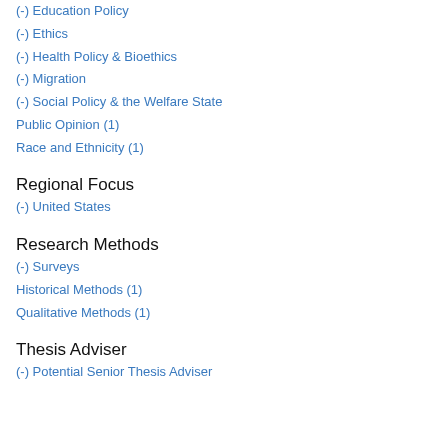(-) Education Policy
(-) Ethics
(-) Health Policy & Bioethics
(-) Migration
(-) Social Policy & the Welfare State
Public Opinion (1)
Race and Ethnicity (1)
Regional Focus
(-) United States
Research Methods
(-) Surveys
Historical Methods (1)
Qualitative Methods (1)
Thesis Adviser
(-) Potential Senior Thesis Adviser